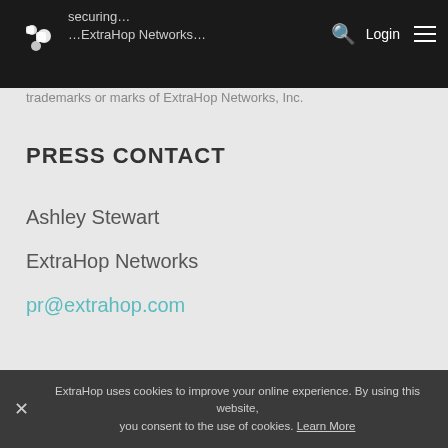ExtraHop Networks logo and navigation bar with Login
trademarks or marks of ExtraHop Networks, Inc.
PRESS CONTACT
Ashley Stewart
ExtraHop Networks
pr@extrahop.com
ExtraHop uses cookies to improve your online experience. By using this website, you consent to the use of cookies. Learn More